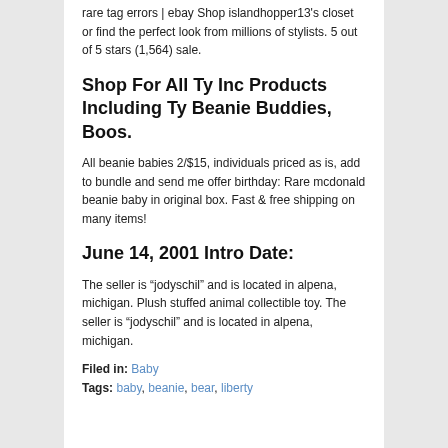rare tag errors | ebay Shop islandhopper13's closet or find the perfect look from millions of stylists. 5 out of 5 stars (1,564) sale.
Shop For All Ty Inc Products Including Ty Beanie Buddies, Boos.
All beanie babies 2/$15, individuals priced as is, add to bundle and send me offer birthday: Rare mcdonald beanie baby in original box. Fast & free shipping on many items!
June 14, 2001 Intro Date:
The seller is “jodyschil” and is located in alpena, michigan. Plush stuffed animal collectible toy. The seller is “jodyschil” and is located in alpena, michigan.
Filed in: Baby
Tags: baby, beanie, bear, liberty